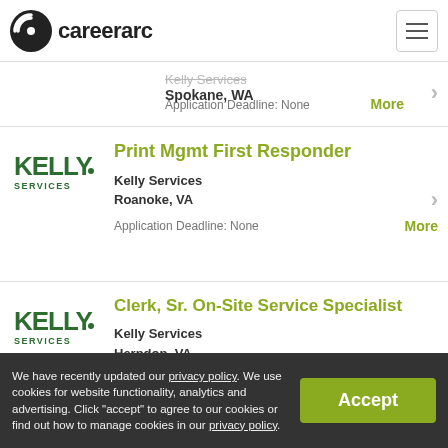careerarc
Kelly Services
Spokane, WA
Application Deadline: None
Print Mgmt First Responder
Kelly Services
Roanoke, VA
Application Deadline: None
Clerk, Sr. On-Site Service Specialist
Kelly Services
Herndon, VA
Application Deadline: None
We have recently updated our privacy policy. We use cookies for website functionality, analytics and advertising. Click "accept" to agree to our cookies or find out how to manage cookies in our privacy policy.